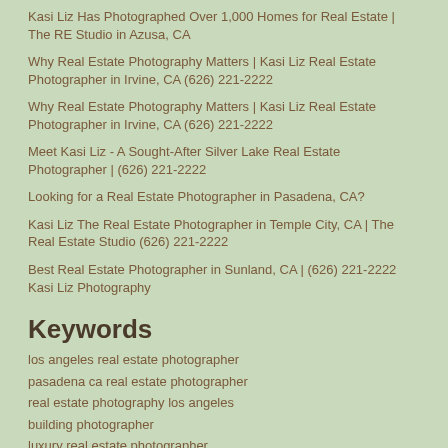Kasi Liz Has Photographed Over 1,000 Homes for Real Estate | The RE Studio in Azusa, CA
Why Real Estate Photography Matters | Kasi Liz Real Estate Photographer in Irvine, CA (626) 221-2222
Why Real Estate Photography Matters | Kasi Liz Real Estate Photographer in Irvine, CA (626) 221-2222
Meet Kasi Liz - A Sought-After Silver Lake Real Estate Photographer | (626) 221-2222
Looking for a Real Estate Photographer in Pasadena, CA?
Kasi Liz The Real Estate Photographer in Temple City, CA | The Real Estate Studio (626) 221-2222
Best Real Estate Photographer in Sunland, CA | (626) 221-2222 Kasi Liz Photography
Keywords
los angeles real estate photographer
pasadena ca real estate photographer
real estate photography los angeles
building photographer
luxury real estate photographer
luxury real estate photography
apartment photographer
commercial real estate photographer
commercial real estate photography